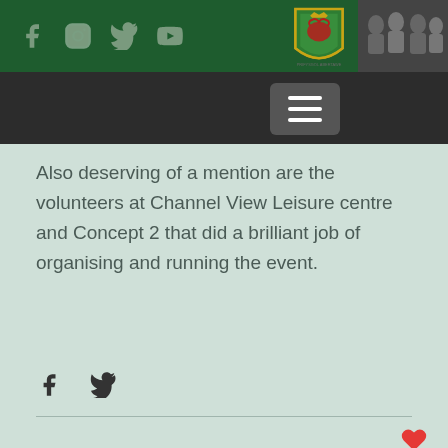Swansea University — social media header with Facebook, Instagram, Twitter, YouTube icons and university crest logo
[Figure (screenshot): Dark photo strip with hamburger menu button overlay]
Also deserving of a mention are the volunteers at Channel View Leisure centre and Concept 2 that did a brilliant job of organising and running the event.
[Figure (infographic): Social share icons: Facebook and Twitter]
[Figure (infographic): Heart/like icon in red at bottom right]